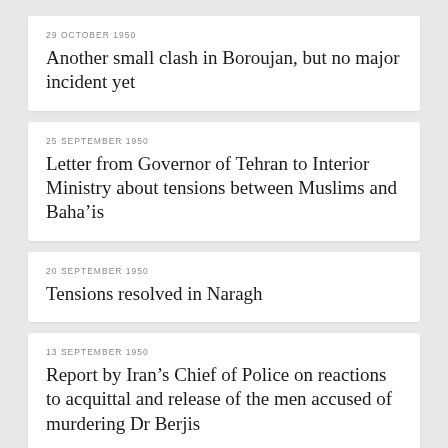29 OCTOBER 1950
Another small clash in Boroujan, but no major incident yet
25 SEPTEMBER 1950
Letter from Governor of Tehran to Interior Ministry about tensions between Muslims and Baha’is
20 SEPTEMBER 1950
Tensions resolved in Naragh
13 SEPTEMBER 1950
Report by Iran’s Chief of Police on reactions to acquittal and release of the men accused of murdering Dr Berjis